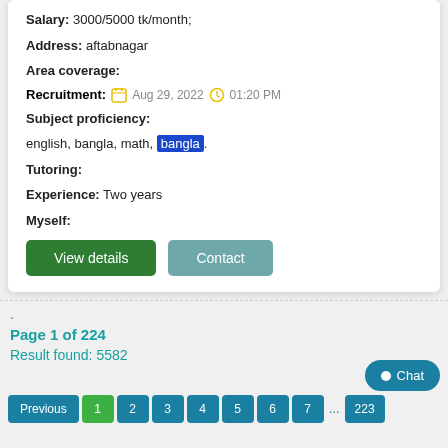Salary: 3000/5000 tk/month;
Address: aftabnagar
Area coverage:
Recruitment: Aug 29, 2022  01:20 PM
Subject proficiency:
english, bangla, math, bangla.
Tutoring:
Experience: Two years
Myself:
.
Page 1 of 224
Result found: 5582
Previous  1  2  3  4  5  6  7  223